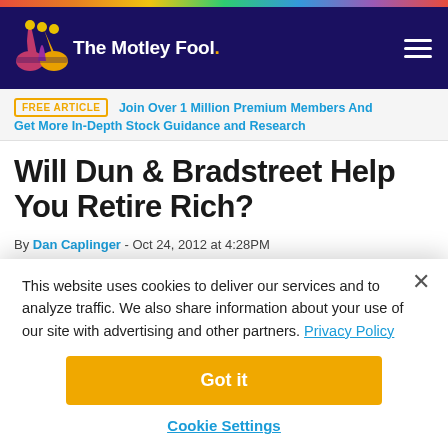The Motley Fool
FREE ARTICLE  Join Over 1 Million Premium Members And Get More In-Depth Stock Guidance and Research
Will Dun & Bradstreet Help You Retire Rich?
By Dan Caplinger - Oct 24, 2012 at 4:28PM
This website uses cookies to deliver our services and to analyze traffic. We also share information about your use of our site with advertising and other partners. Privacy Policy
Got it
Cookie Settings